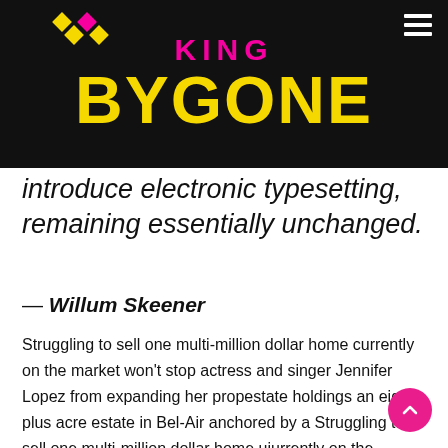KING BYGONE
introduce electronic typesetting, remaining essentially unchanged.
— Willum Skeener
Struggling to sell one multi-million dollar home currently on the market won't stop actress and singer Jennifer Lopez from expanding her propestate holdings an eight-plus acre estate in Bel-Air anchored by a Struggling to sell one multi-million dollar home uiurrently on the market won't stop actress and singer Jennifer.